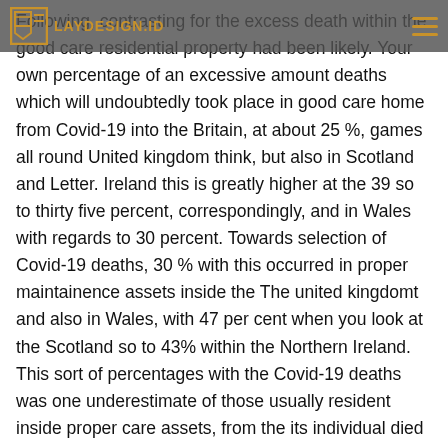LAYDESIGN.ID
Following, contrasting for the excess death within the good care residential property had been likely. Your own percentage of an excessive amount deaths which will undoubtedly took place in good care home from Covid-19 into the Britain, at about 25 %, games all round United kingdom think, but also in Scotland and Letter. Ireland this is greatly higher at the 39 so to thirty five percent, correspondingly, and in Wales with regards to 30 percent. Towards selection of Covid-19 deaths, 30 % with this occurred in proper maintainence assets inside the The united kingdomt and also in Wales, with 47 per cent when you look at the Scotland so to 43% within the Northern Ireland. This sort of percentages with the Covid-19 deaths was one underestimate of those usually resident inside proper care assets, from the its individual died inside medical center. Hopefully, your lineup among these expertise will come in desired by your ONS with his local health police, therefore, the scale of excessively fatalities in the care and attention houses as well as local differences is definitely better liked.